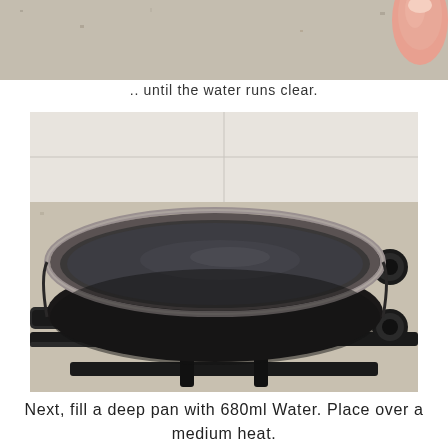[Figure (photo): Partial top view of hands rinsing something under water, cropped — only the top portion visible]
.. until the water runs clear.
[Figure (photo): A large non-stick pan filled with clear water, sitting on a gas stove burner on a kitchen counter. The pan is round with a silver rim and black interior, resting on black metal grate.]
Next, fill a deep pan with 680ml Water. Place over a medium heat.